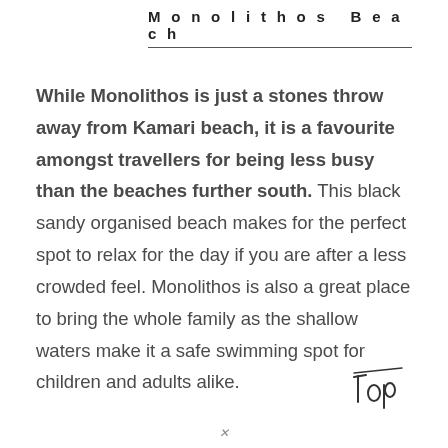Monolithos Beach
While Monolithos is just a stones throw away from Kamari beach, it is a favourite amongst travellers for being less busy than the beaches further south. This black sandy organised beach makes for the perfect spot to relax for the day if you are after a less crowded feel. Monolithos is also a great place to bring the whole family as the shallow waters make it a safe swimming spot for children and adults alike.
[Figure (illustration): Handwritten-style 'Top' logo/stamp in bottom right corner]